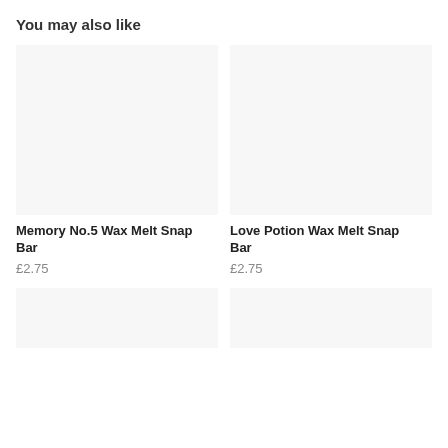You may also like
[Figure (photo): Product image placeholder for Memory No.5 Wax Melt Snap Bar]
Memory No.5 Wax Melt Snap Bar
£2.75
[Figure (photo): Product image placeholder for Love Potion Wax Melt Snap Bar]
Love Potion Wax Melt Snap Bar
£2.75
[Figure (photo): Product image placeholder (bottom left)]
[Figure (photo): Product image placeholder (bottom right)]